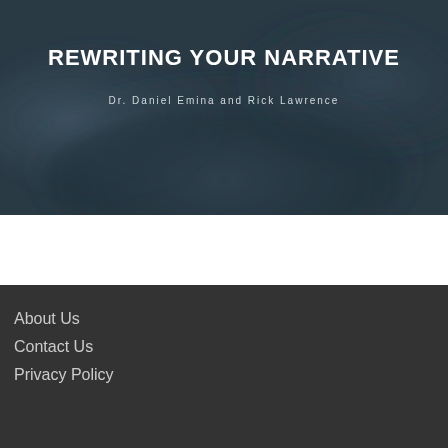[Figure (photo): Dark, moody stormy cloud background image used as hero banner for book or website titled 'Rewriting Your Narrative']
REWRITING YOUR NARRATIVE
Dr. Daniel Emina and Rick Lawrence
About Us
Contact Us
Privacy Policy